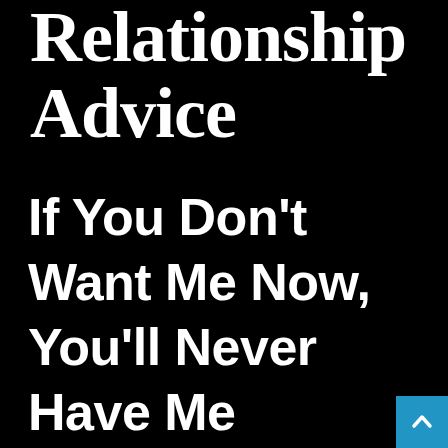Relationship Advice
If You Don't Want Me Now, You'll Never Have Me
[Figure (illustration): Small teal/blue scroll-to-top button with upward chevron arrow in bottom-right corner]